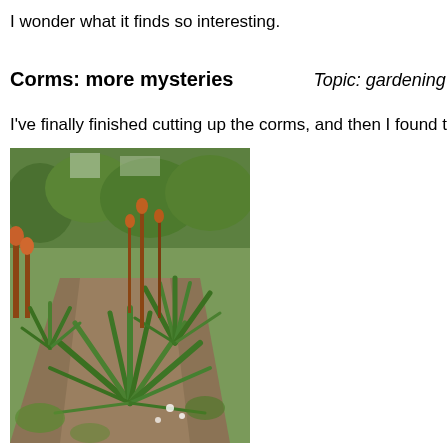I wonder what it finds so interesting.
Corms: more mysteries
Topic: gardening
I've finally finished cutting up the corms, and then I found this p
[Figure (photo): A garden bed with various plants including large spiky-leaved plants that appear to be corms or similar bulb plants, with tall flower spikes, surrounded by trees and shrubs in the background.]